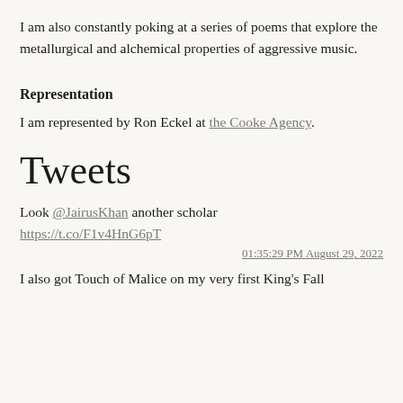I am also constantly poking at a series of poems that explore the metallurgical and alchemical properties of aggressive music.
Representation
I am represented by Ron Eckel at the Cooke Agency.
Tweets
Look @JairusKhan another scholar https://t.co/F1v4HnG6pT
01:35:29 PM August 29, 2022
I also got Touch of Malice on my very first King's Fall